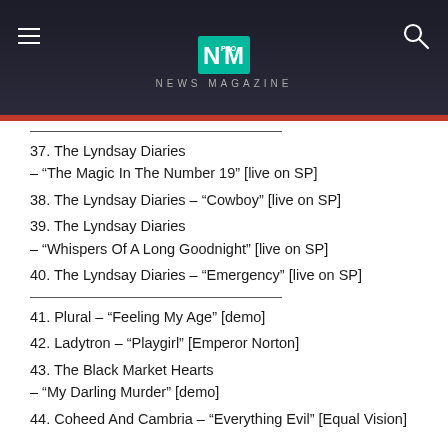NEWS MAGAZINE
37. The Lyndsay Diaries – “The Magic In The Number 19” [live on SP]
38. The Lyndsay Diaries – “Cowboy” [live on SP]
39. The Lyndsay Diaries – “Whispers Of A Long Goodnight” [live on SP]
40. The Lyndsay Diaries – “Emergency” [live on SP]
41. Plural – “Feeling My Age” [demo]
42. Ladytron – “Playgirl” [Emperor Norton]
43. The Black Market Hearts – “My Darling Murder” [demo]
44. Coheed And Cambria – “Everything Evil” [Equal Vision]
9pm